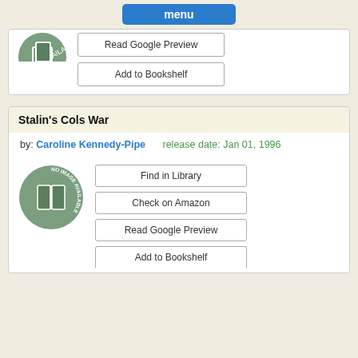[Figure (screenshot): Menu button bar at top, blue button labeled 'menu']
[Figure (illustration): No image available circular icon (partially visible, top of first card)]
Read Google Preview
Add to Bookshelf
Stalin's Cols War
by: Caroline Kennedy-Pipe   release date: Jan 01, 1996
[Figure (illustration): No image available circular green icon with open book]
Find in Library
Check on Amazon
Read Google Preview
Add to Bookshelf